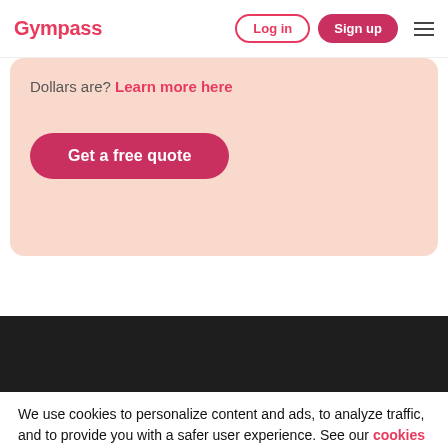Gympass | Log in | Sign up
Dollars are? Learn more here
Get a free quote
We use cookies to personalize content and ads, to analyze traffic, and to provide you with a safer user experience. See our cookies policy for more information.
Agree